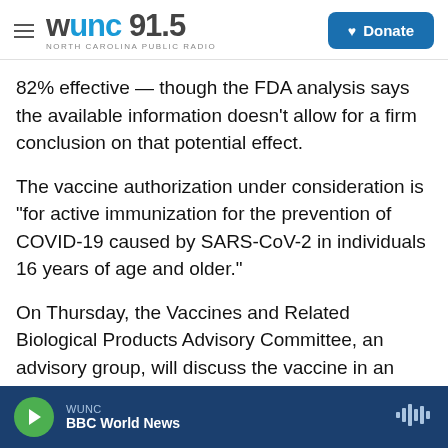WUNC 91.5 North Carolina Public Radio | Donate
82% effective — though the FDA analysis says the available information doesn't allow for a firm conclusion on that potential effect.
The vaccine authorization under consideration is "for active immunization for the prevention of COVID-19 caused by SARS-CoV-2 in individuals 16 years of age and older."
On Thursday, the Vaccines and Related Biological Products Advisory Committee, an advisory group, will discuss the vaccine in an open public meeting.
The agency will ask the experts to assess whether
WUNC | BBC World News